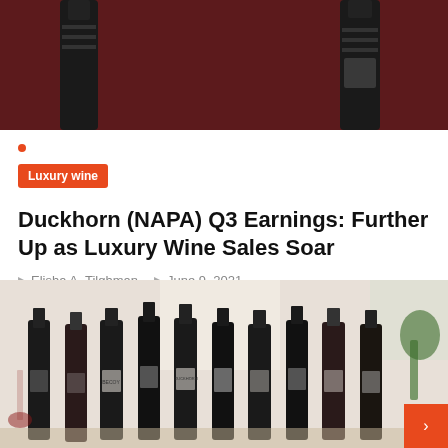[Figure (photo): Top portion of a wine bottle photo against a dark maroon background, showing two dark bottles partially visible]
Luxury wine
Duckhorn (NAPA) Q3 Earnings: Further Up as Luxury Wine Sales Soar
Elisha A. Tilghman   June 9, 2021
[Figure (photo): Collection of Duckhorn wine brand bottles including Decoy, Calera, Duckhorn, Freemark and other labels lined up on a table in a bright room]